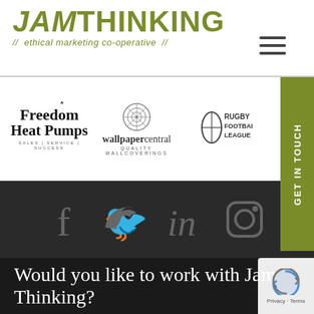JAMTHINKING // ethical marketing co-operative //
[Figure (logo): Hamburger menu icon (three horizontal lines)]
[Figure (logo): Freedom Heat Pumps logo - Sales | Service | Success]
[Figure (logo): wallpapercentral QUALITY WALLCOVERINGS logo]
[Figure (logo): Rugby Football League logo with oval ball icon]
[Figure (infographic): GET IN TOUCH vertical sidebar button in olive green]
[Figure (infographic): Social media icons bar: Facebook, Twitter, LinkedIn, Instagram on dark background]
Would you like to work with Jam Thinking?